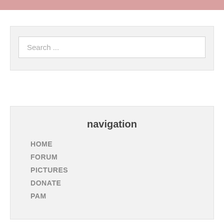[Figure (other): Pink/rose colored banner image at the top of the page]
Search ...
navigation
HOME
FORUM
PICTURES
DONATE
PAM